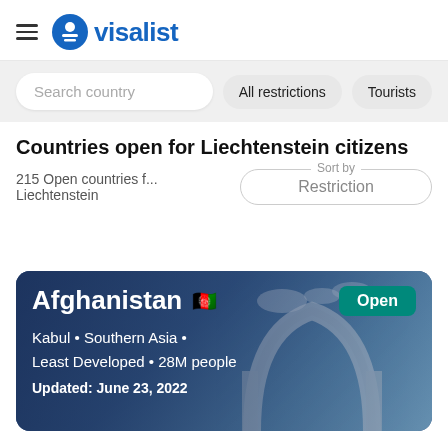visalist
Search country
All restrictions
Tourists
Countries open for Liechtenstein citizens
215 Open countries f... Liechtenstein
Sort by Restriction
[Figure (photo): Afghanistan country card showing an arch monument against a blue sky, with Open badge]
Afghanistan
Kabul • Southern Asia •
Least Developed • 28M people
Updated: June 23, 2022